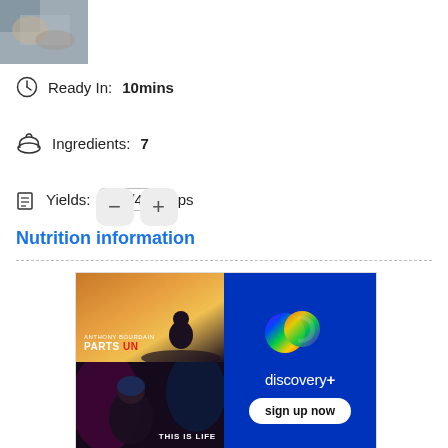[Figure (photo): Small food thumbnail image in the top left corner]
Ready In: 10mins
Ingredients: 7
Yields: 1 1/4 cups
Nutrition information
[Figure (advertisement): Discovery+ streaming service advertisement featuring Anthony Bourdain Parts Unknown and This Is Life shows, with Discovery+ logo and sign up now button]